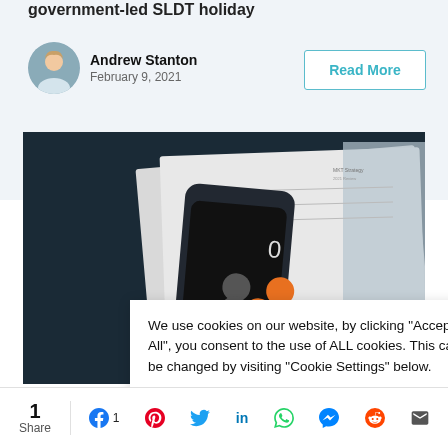government-led SLDT holiday
Andrew Stanton
February 9, 2021
Read More
[Figure (photo): A hand holding a smartphone showing a calculator-like interface with orange and grey buttons, placed over papers/documents on a dark desk]
We use cookies on our website, by clicking “Accept All”, you consent to the use of ALL cookies. This can be changed by visiting "Cookie Settings" below.
1
Share
1